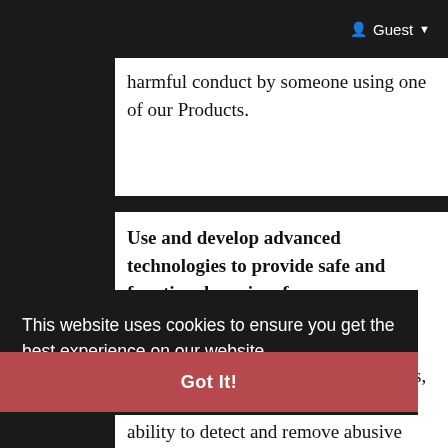Guest
harmful conduct by someone using one of our Products.
Use and develop advanced technologies to provide safe and functional services for everyone:
We use and develop advanced technologies - such as artificial intelligence, machine learning systems, and augmented reality - so that people can use our Products safely regardless of physical ability or geographic location. For example, technology like
This website uses cookies to ensure you get the best experience on our website.
Learn More
Got It!
ability to detect and remove abusive and dangerous